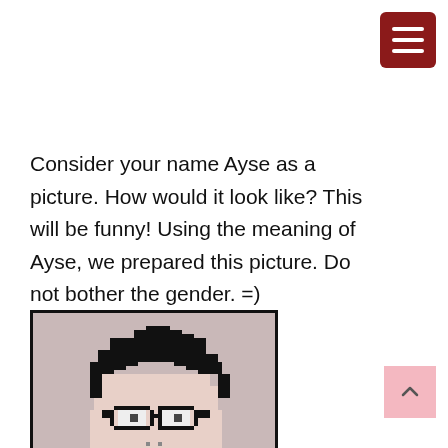[Figure (other): Red hamburger menu button in top-right corner]
Consider your name Ayse as a picture. How would it look like? This will be funny! Using the meaning of Ayse, we prepared this picture. Do not bother the gender. =)
[Figure (illustration): Pixel art portrait of a person with glasses and dark hair on a beige/pink background, framed with a black border]
[Figure (other): Pink scroll-to-top button with an upward caret arrow in the bottom-right corner]